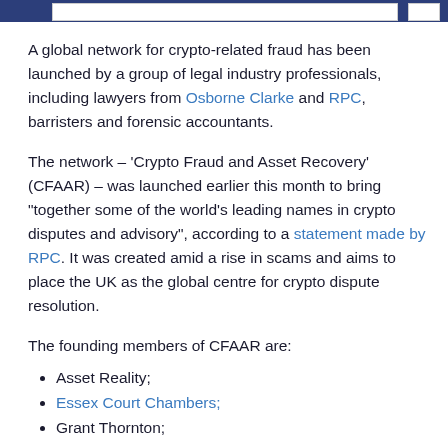A global network for crypto-related fraud has been launched by a group of legal industry professionals, including lawyers from Osborne Clarke and RPC, barristers and forensic accountants.
The network – 'Crypto Fraud and Asset Recovery' (CFAAR) – was launched earlier this month to bring "together some of the world's leading names in crypto disputes and advisory", according to a statement made by RPC. It was created amid a rise in scams and aims to place the UK as the global centre for crypto dispute resolution.
The founding members of CFAAR are:
Asset Reality;
Essex Court Chambers;
Grant Thornton;